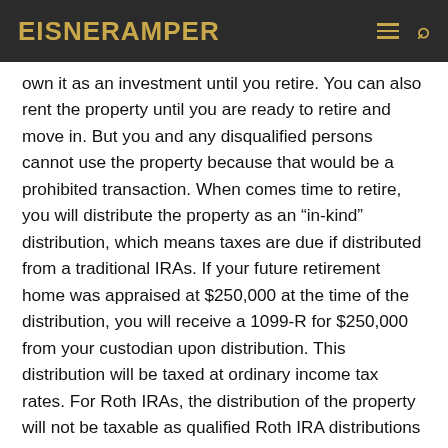EisnerAmper
own it as an investment until you retire. You can also rent the property until you are ready to retire and move in. But you and any disqualified persons cannot use the property because that would be a prohibited transaction. When comes time to retire, you will distribute the property as an “in-kind” distribution, which means taxes are due if distributed from a traditional IRAs. If your future retirement home was appraised at $250,000 at the time of the distribution, you will receive a 1099-R for $250,000 from your custodian upon distribution. This distribution will be taxed at ordinary income tax rates. For Roth IRAs, the distribution of the property will not be taxable as qualified Roth IRA distributions are not subject to tax.